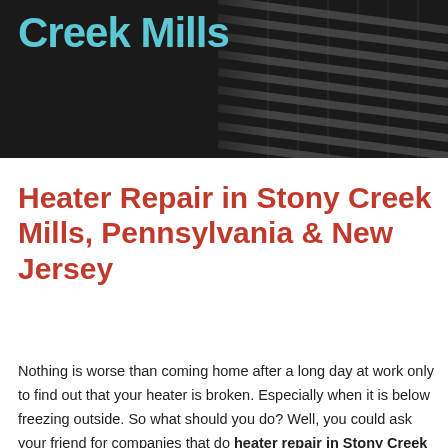[Figure (photo): Hero image showing a dark-colored heater vent/grille with the text 'Creek Mills' in teal overlaid on the left side against a dark background.]
Heater Repair in Stony Creek Mills, Pennsylvania & New Jersey
Nothing is worse than coming home after a long day at work only to find out that your heater is broken. Especially when it is below freezing outside. So what should you do? Well, you could ask your friend for companies that do heater repair in Stony Creek Mills or